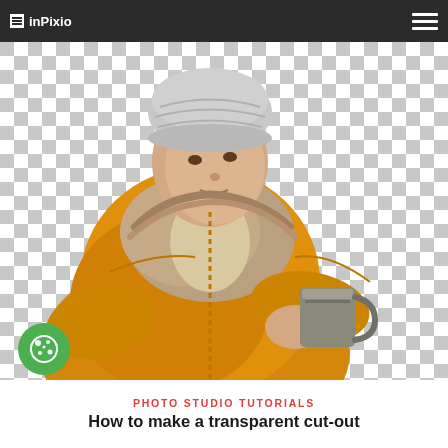inPixio
[Figure (photo): Woman in yellow puffer jacket with fur-trimmed hood and grey knit beanie hat, holding a metal mug, cut out against a transparent checkerboard background]
PHOTO STUDIO TUTORIALS
How to make a transparent cut-out